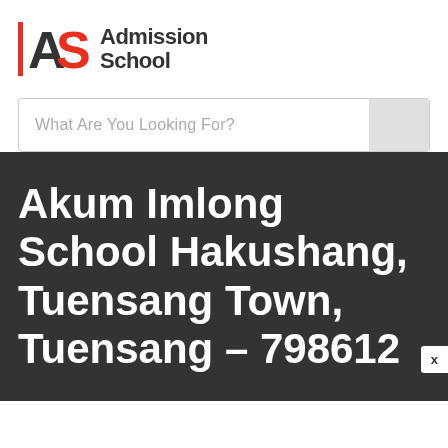[Figure (logo): Admission School logo with red vertical bar, AS letters in dark and orange, and text 'Admission School']
What Are You Looking For?
Akum Imlong School Hakushang, Tuensang Town, Tuensang – 798612